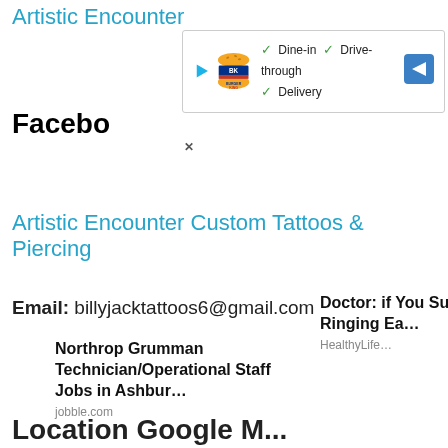Artistic Encounter
[Figure (screenshot): Burger King ad overlay showing Dine-in, Drive-through, and Delivery options with a direction arrow icon]
Facebо
Artistic Encounter Custom Tattoos & Piercing
Email: billyjacktattoos6@gmail.com
Northrop Grumman Technician/Operational Staff Jobs in Ashbur…
jobble.com
Doctor: if You Suffer from Ringing Ea…
HealthyLife…
Location Google M...